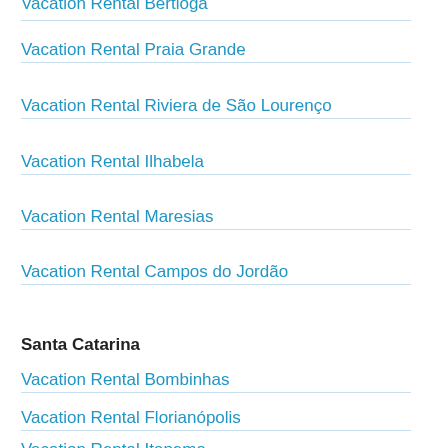Vacation Rental Praia Grande
Vacation Rental Riviera de São Lourenço
Vacation Rental Ilhabela
Vacation Rental Maresias
Vacation Rental Campos do Jordão
Santa Catarina
Vacation Rental Bombinhas
Vacation Rental Florianópolis
Vacation Rental Itapema